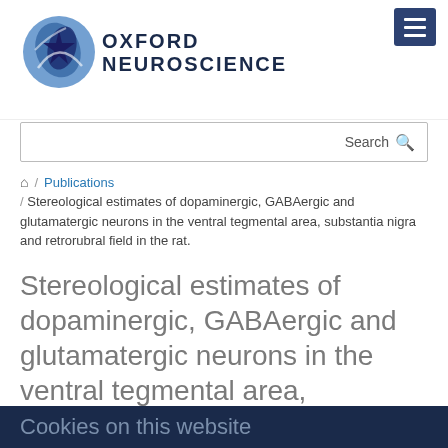[Figure (logo): Oxford Neuroscience logo with circular brain icon in blue tones and text OXFORD NEUROSCIENCE]
Search
/ Publications / Stereological estimates of dopaminergic, GABAergic and glutamatergic neurons in the ventral tegmental area, substantia nigra and retrorubral field in the rat.
Stereological estimates of dopaminergic, GABAergic and glutamatergic neurons in the ventral tegmental area, substantia nigra and retrorubral field in the rat.
Cookies on this website